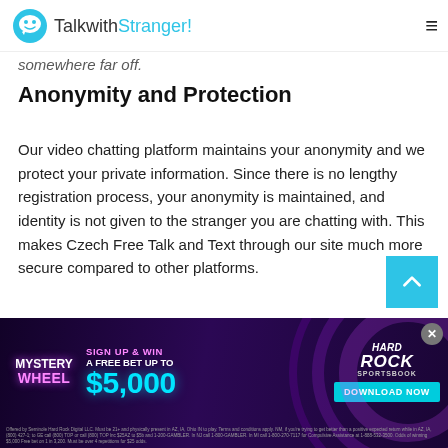TalkwithStranger!
somewhere far off.
Anonymity and Protection
Our video chatting platform maintains your anonymity and we protect your private information. Since there is no lengthy registration process, your anonymity is maintained, and identity is not given to the stranger you are chatting with. This makes Czech Free Talk and Text through our site much more secure compared to other platforms.
We prioritize safety and security and take every measure
[Figure (other): Hard Rock Sportsbook advertisement banner: Mystery Wheel - Sign Up & Win a Free Bet Up To $5,000. Download Now button.]